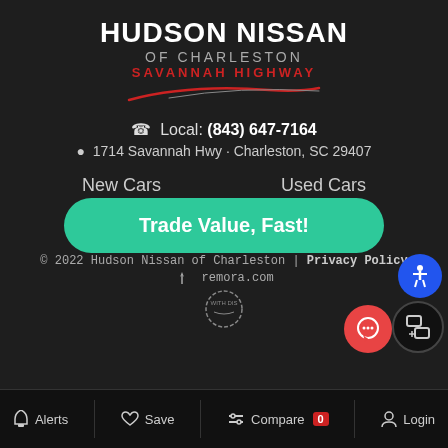HUDSON NISSAN OF CHARLESTON SAVANNAH HIGHWAY
Local: (843) 647-7164
1714 Savannah Hwy · Charleston, SC 29407
New Cars
Used Cars
[Figure (infographic): Social media icons: Facebook, Twitter, YouTube]
© 2022 Hudson Nissan of Charleston | Privacy Policy
remora.com
[Figure (infographic): Trade Value Fast! button, chat button, widget button, accessibility button]
Alerts  Save  Compare 0  Login